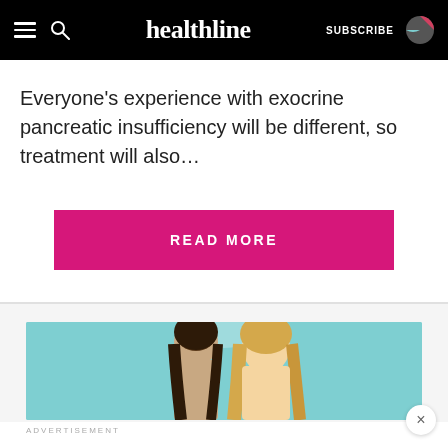healthline — SUBSCRIBE
Everyone's experience with exocrine pancreatic insufficiency will be different, so treatment will also…
READ MORE
[Figure (photo): Two women (one brunette, one blonde) hugging or leaning close together against a teal/turquoise background, shown from the shoulders up. Advertisement image.]
ADVERTISEMENT